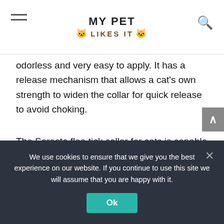MY PET LIKES IT
odorless and very easy to apply. It has a release mechanism that allows a cat's own strength to widen the collar for quick release to avoid choking.
The Seresto flea tick collar for cats is capable of killing fleas and ticks through contact. This anti-flea collar also for cats feature reflective clips that increase nighttime visibility.
Seresto flea & tick collar for cats are capable of killing and k...
We use cookies to ensure that we give you the best experience on our website. If you continue to use this site we will assume that you are happy with it.